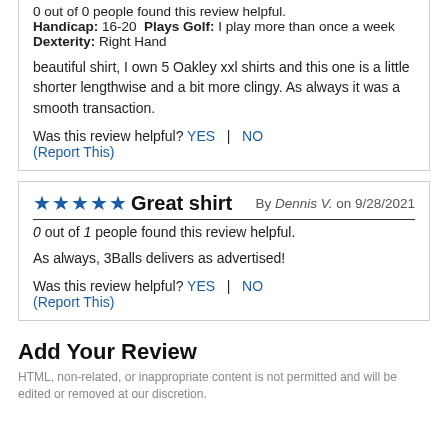0 out of 0 people found this review helpful. Handicap: 16-20  Plays Golf: I play more than once a week  Dexterity: Right Hand
beautiful shirt, I own 5 Oakley xxl shirts and this one is a little shorter lengthwise and a bit more clingy. As always it was a smooth transaction.
Was this review helpful? YES | NO (Report This)
Great shirt
0 out of 1 people found this review helpful.
As always, 3Balls delivers as advertised!
Was this review helpful? YES | NO (Report This)
Add Your Review
HTML, non-related, or inappropriate content is not permitted and will be edited or removed at our discretion.